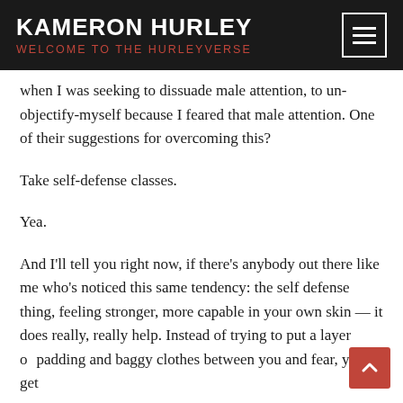KAMERON HURLEY WELCOME TO THE HURLEYVERSE
when I was seeking to dissuade male attention, to un-objectify-myself because I feared that male attention. One of their suggestions for overcoming this?
Take self-defense classes.
Yea.
And I'll tell you right now, if there's anybody out there like me who's noticed this same tendency: the self defense thing, feeling stronger, more capable in your own skin — it does really, really help. Instead of trying to put a layer of padding and baggy clothes between you and fear, you get